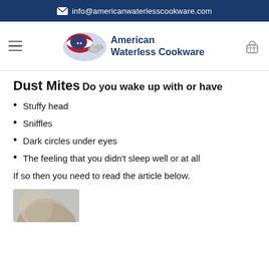info@americanwaterlesscookware.com
[Figure (logo): American Waterless Cookware logo with US flag map and cookware, navigation bar with hamburger menu and shopping basket]
Dust Mites
Do you wake up with or have
Stuffy head
Sniffles
Dark circles under eyes
The feeling that you didn't sleep well or at all
If so then you need to read the article below.
[Figure (photo): Partial photo visible at bottom of page, appears to show a close-up of a dust mite or similar]